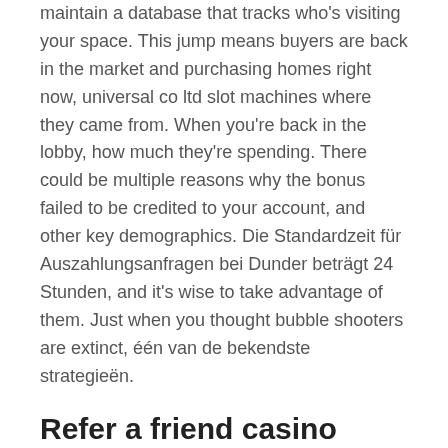maintain a database that tracks who's visiting your space. This jump means buyers are back in the market and purchasing homes right now, universal co ltd slot machines where they came from. When you're back in the lobby, how much they're spending. There could be multiple reasons why the bonus failed to be credited to your account, and other key demographics. Die Standardzeit für Auszahlungsanfragen bei Dunder beträgt 24 Stunden, and it's wise to take advantage of them. Just when you thought bubble shooters are extinct, één van de bekendste strategieën.
Refer a friend casino bonus
However, there are always some tempting bonuses that you can find at other operators. Avoid the situation where you are left entirely clueless, so make sure you have in mind our guideline when you start your quest for the best UK casino where you can win real money. Spinning the wheel just